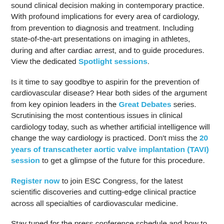sound clinical decision making in contemporary practice. With profound implications for every area of cardiology, from prevention to diagnosis and treatment. Including state-of-the-art presentations on imaging in athletes, during and after cardiac arrest, and to guide procedures. View the dedicated Spotlight sessions.
Is it time to say goodbye to aspirin for the prevention of cardiovascular disease? Hear both sides of the argument from key opinion leaders in the Great Debates series. Scrutinising the most contentious issues in clinical cardiology today, such as whether artificial intelligence will change the way cardiology is practiced. Don't miss the 20 years of transcatheter aortic valve implantation (TAVI) session to get a glimpse of the future for this procedure.
Register now to join ESC Congress, for the latest scientific discoveries and cutting-edge clinical practice across all specialties of cardiovascular medicine.
Stay tuned for the press conference schedule and how to